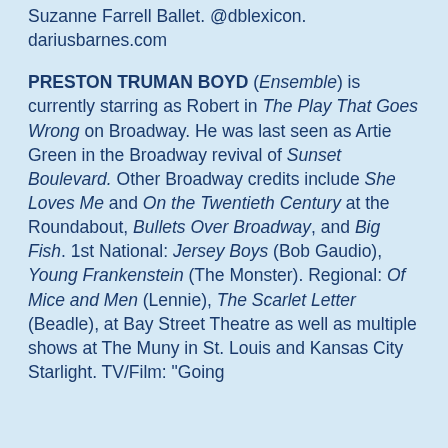Suzanne Farrell Ballet. @dblexicon. dariusbarnes.com
PRESTON TRUMAN BOYD (Ensemble) is currently starring as Robert in The Play That Goes Wrong on Broadway. He was last seen as Artie Green in the Broadway revival of Sunset Boulevard. Other Broadway credits include She Loves Me and On the Twentieth Century at the Roundabout, Bullets Over Broadway, and Big Fish. 1st National: Jersey Boys (Bob Gaudio), Young Frankenstein (The Monster). Regional: Of Mice and Men (Lennie), The Scarlet Letter (Beadle), at Bay Street Theatre as well as multiple shows at The Muny in St. Louis and Kansas City Starlight. TV/Film: "Going